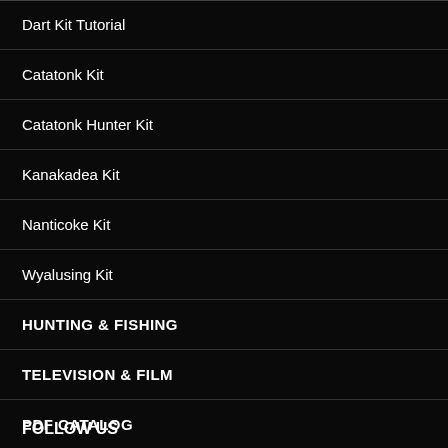Dart Kit Tutorial
Catatonk Kit
Catatonk Hunter Kit
Kanakadea Kit
Nanticoke Kit
Wyalusing Kit
HUNTING & FISHING
TELEVISION & FILM
PDF CATALOG
FOLLOW US